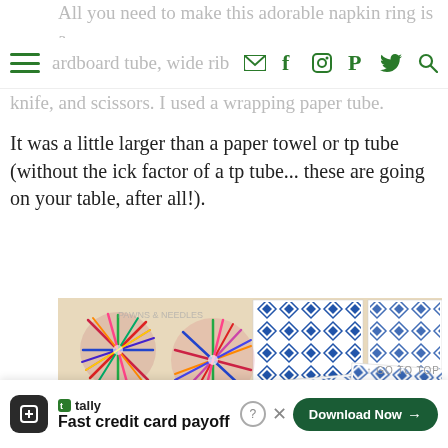navigation bar with hamburger menu, email, facebook, instagram, pinterest, twitter, search icons
All you need to make this adorable napkin ring is a cardboard tube, wide ribbon, yarn, glue, a utility knife, and scissors. I used a wrapping paper tube. It was a little larger than a paper towel or tp tube (without the ick factor of a tp tube... these are going on your table, after all!).
[Figure (photo): Colorful yarn pom-poms scattered on a beige surface next to blue and white geometric patterned paper squares and a cardboard tube]
Fast credit card payoff